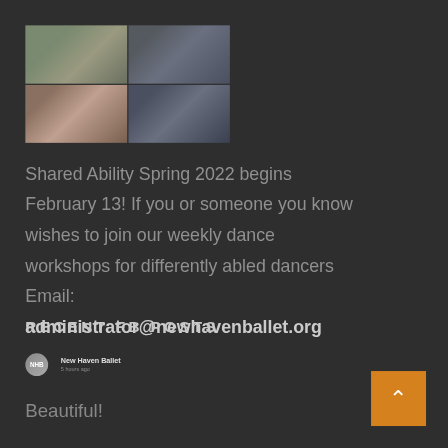[Figure (photo): 4-panel photo grid showing people dancing/doing ballet via video call from their homes. Top-left shows a person in a living room, top-right shows a person with arms raised, bottom-left shows a woman in colorful clothes, bottom-right shows a person wearing a mask with arm extended.]
Shared Ability Spring 2022 begins February 13! If you or someone you know wishes to join our weekly dance workshops for differently abled dancers Email: administrator@newhavenballet.org
RECENT FB POSTS
New Haven Ballet
5 hours ago
Beautiful!